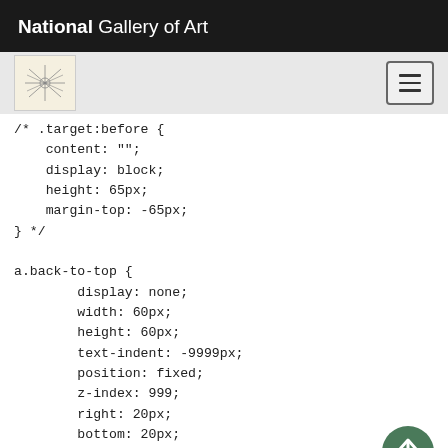National Gallery of Art
[Figure (screenshot): Navigation bar with NGA logo and hamburger menu icon]
/* .target:before {
    content: "";
    display: block;
    height: 65px;
    margin-top: -65px;
} */

a.back-to-top {
        display: none;
        width: 60px;
        height: 60px;
        text-indent: -9999px;
        position: fixed;
        z-index: 999;
        right: 20px;
        bottom: 20px;
        background: url(http://vm-healdddev-
occvp.nga.gov/mediawiki/skins/assets/images/